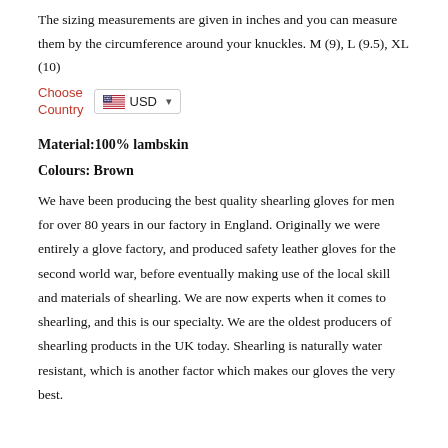The sizing measurements are given in inches and you can measure them by the circumference around your knuckles. M (9), L (9.5), XL (10)
Choose Country  USD
Material: 100% lambskin
Colours: Brown
We have been producing the best quality shearling gloves for men for over 80 years in our factory in England. Originally we were entirely a glove factory, and produced safety leather gloves for the second world war, before eventually making use of the local skill and materials of shearling. We are now experts when it comes to shearling, and this is our specialty. We are the oldest producers of shearling products in the UK today. Shearling is naturally water resistant, which is another factor which makes our gloves the very best.